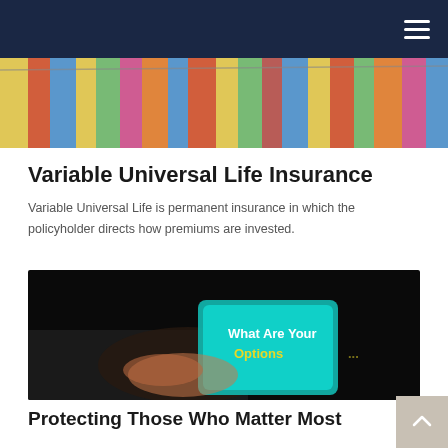Navigation bar with hamburger menu
[Figure (photo): Colorful flags or banners photo at the top of the page]
Variable Universal Life Insurance
Variable Universal Life is permanent insurance in which the policyholder directs how premiums are invested.
[Figure (photo): Dark photo of hands holding a tablet showing text 'What Are Your Options']
Protecting Those Who Matter Most
The importance of life insurance, how it works, and how